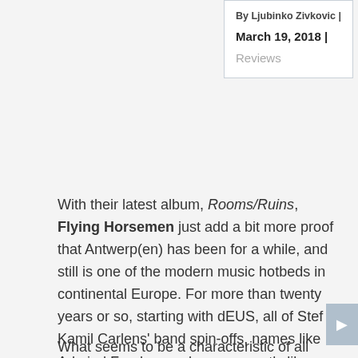By Ljubinko Zivkovic | March 19, 2018 | Reviews
With their latest album, Rooms/Ruins, Flying Horsemen just add a bit more proof that Antwerp(en) has been for a while, and still is one of the modern music hotbeds in continental Europe. For more than twenty years or so, starting with dEUS, all of Stef Kamil Carlens' band spin-offs, names like Admiral Freebee and more recently like Tubs (also reviewed on Echoes & Dust) and quite a few others there have been some interesting sounds consistently coming out of this Belgian city.
What seems to be a characteristic of all these